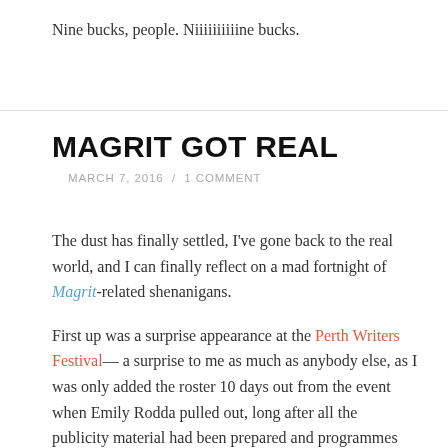Nine bucks, people. Niiiiiiiiiine bucks.
MAGRIT GOT REAL
MARCH 7, 2016 / 1 COMMENT
The dust has finally settled, I've gone back to the real world, and I can finally reflect on a mad fortnight of Magrit-related shenanigans.
First up was a surprise appearance at the Perth Writers Festival— a surprise to me as much as anybody else, as I was only added the roster 10 days out from the event when Emily Rodda pulled out, long after all the publicity material had been prepared and programmes printed. Even so, an invitation to appear is